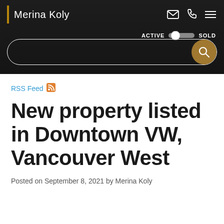Merina Koly
[Figure (screenshot): Website header with dark background, Merina Koly brand name with gold bar, navigation icons (email, phone, menu), ACTIVE/SOLD toggle switch, and a search bar with gold search button]
RSS Feed
New property listed in Downtown VW, Vancouver West
Posted on September 8, 2021 by Merina Koly